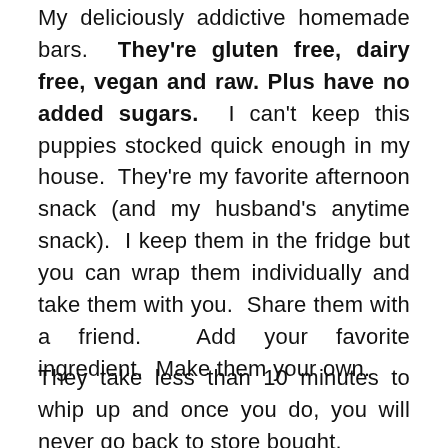My deliciously addictive homemade bars.  They're gluten free, dairy free, vegan and raw. Plus have no added sugars.  I can't keep this puppies stocked quick enough in my house.  They're my favorite afternoon snack (and my husband's anytime snack).  I keep them in the fridge but you can wrap them individually and take them with you.  Share them with a friend.  Add your favorite ingredient.  Make them your own.
They take less than 10 minutes to whip up and once you do, you will never go back to store bought.